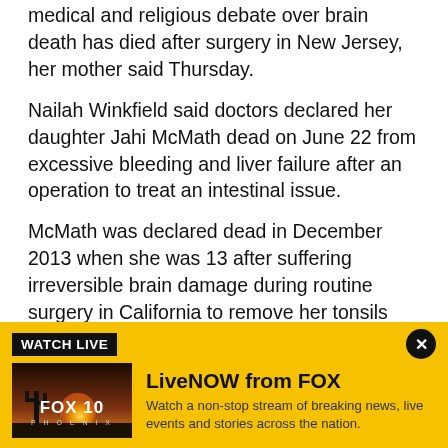medical and religious debate over brain death has died after surgery in New Jersey, her mother said Thursday.
Nailah Winkfield said doctors declared her daughter Jahi McMath dead on June 22 from excessive bleeding and liver failure after an operation to treat an intestinal issue.
McMath was declared dead in December 2013 when she was 13 after suffering irreversible brain damage during routine surgery in California to remove her tonsils and a coroner signed a death certificate. Several specialists concurred after neurological tests.
[Figure (screenshot): FOX 10 Phoenix LiveNOW promotional banner with yellow background, showing 'WATCH LIVE' label, FOX10 Phoenix thumbnail image, LiveNOW from FOX heading, and description text 'Watch a non-stop stream of breaking news, live events and stories across the nation.']